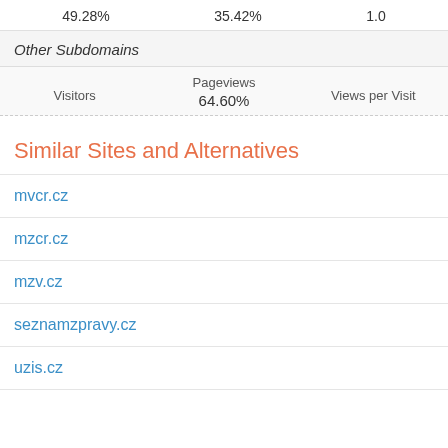49.28%   35.42%   1.0
Other Subdomains
| Visitors | Pageviews | Views per Visit |
| --- | --- | --- |
|  | 64.60% |  |
Similar Sites and Alternatives
mvcr.cz
mzcr.cz
mzv.cz
seznamzpravy.cz
uzis.cz